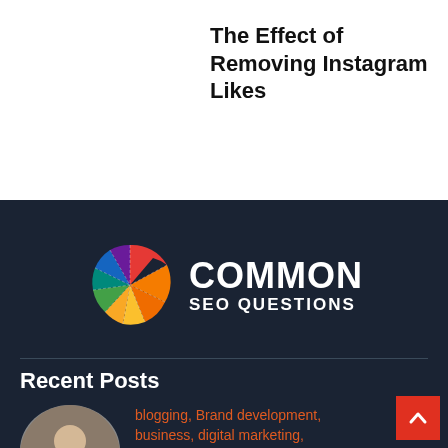The Effect of Removing Instagram Likes
[Figure (logo): Common SEO Questions logo — colorful pie-chart wheel on left, bold white text COMMON SEO QUESTIONS on right, on dark navy background]
Recent Posts
[Figure (photo): Circular thumbnail photo of a person in business attire sitting at a desk, writing or reviewing documents]
blogging, Brand development, business, digital marketing, digital marketing for lawyers, Google Ads, internet